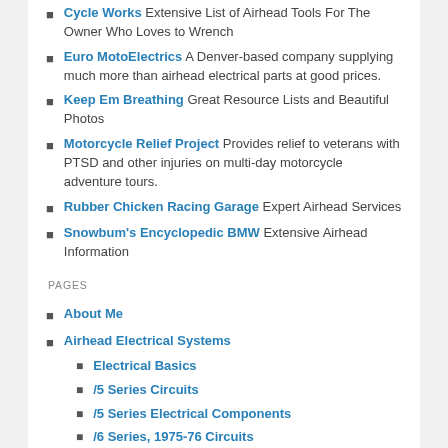Cycle Works Extensive List of Airhead Tools For The Owner Who Loves to Wrench
Euro MotoElectrics A Denver-based company supplying much more than airhead electrical parts at good prices.
Keep Em Breathing Great Resource Lists and Beautiful Photos
Motorcycle Relief Project Provides relief to veterans with PTSD and other injuries on multi-day motorcycle adventure tours.
Rubber Chicken Racing Garage Expert Airhead Services
Snowbum's Encyclopedic BMW Extensive Airhead Information
PAGES
About Me
Airhead Electrical Systems
Electrical Basics
/5 Series Circuits
/5 Series Electrical Components
/6 Series, 1975-76 Circuits